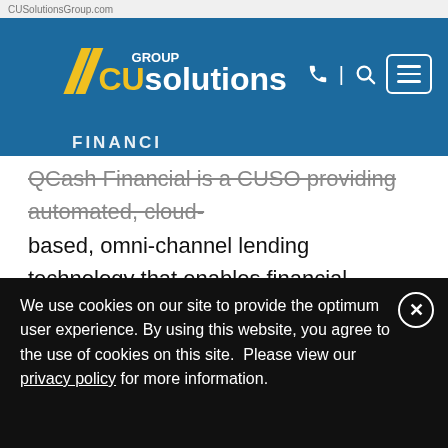CUSolutionsGroup.com
[Figure (logo): CU Solutions Group logo with yellow chevron stripes and white text on blue background, with phone, search, and hamburger menu icons]
QCash Financial is a CUSO providing automated, cloud-based, omni-channel lending technology that enables financial institutions to provide short-term loans quickly to the people they serve. QCash Financial, a wholly-owned subsidiary of WSECU in Olympia, Washington, started as a short-term loan solution for the credit union’s members in 2004. The company is pleased to work with credit unions in the United States and Canada. In December 2017, QCash was selected as the winner of Financial Times Future of
We use cookies on our site to provide the optimum user experience. By using this website, you agree to the use of cookies on this site.  Please view our privacy policy for more information.